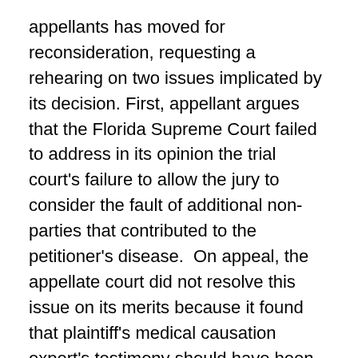appellants has moved for reconsideration, requesting a rehearing on two issues implicated by its decision. First, appellant argues that the Florida Supreme Court failed to address in its opinion the trial court's failure to allow the jury to consider the fault of additional non-parties that contributed to the petitioner's disease.  On appeal, the appellate court did not resolve this issue on its merits because it found that plaintiff's medical causation expert's testimony should have been excluded. However, in a footnote the court indicated that it would have reversed for failure to include the non-party defendants were it not concluding the testimony was inadmissible, as it would have provided the basis for including at least six non-party defendants on the verdict form. Second, the appellants argue whether an